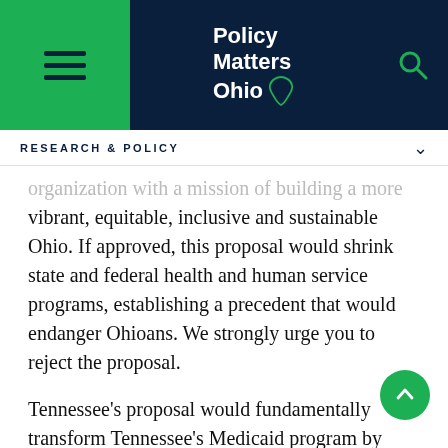Policy Matters Ohio
RESEARCH & POLICY
organization with a mission of building a more vibrant, equitable, inclusive and sustainable Ohio. If approved, this proposal would shrink state and federal health and human service programs, establishing a precedent that would endanger Ohioans. We strongly urge you to reject the proposal.
Tennessee's proposal would fundamentally transform Tennessee's Medicaid program by giving the state a block grant of federal dollars with significantly reduced federal oversight and accountability. It would alter the financing infrastructure of Medicaid, which is not allowed